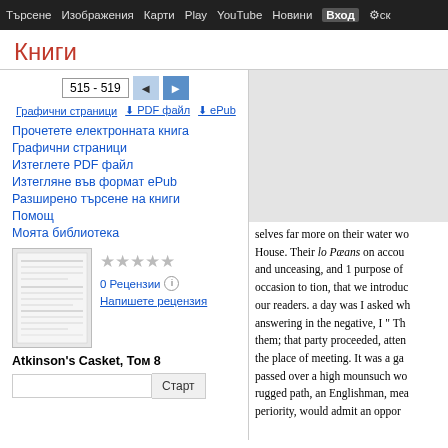Търсене  Изображения  Карти  Play  YouTube  Новини  Вход  ск
Книги
515 - 519
Графични страници  ⬇ PDF файл  ⬇ ePub
Прочетете електронната книга
Графични страници
Изтеглете PDF файл
Изтегляне във формат ePub
Разширено търсене на книги
Помощ
Моята библиотека
0 Рецензии
Напишете рецензия
Atkinson's Casket, Том 8
Старт
selves far more on their water wo House. Their lo Pæans on accou and unceasing, and 1 purpose of occasion to tion, that we introduc our readers. a day was I asked wh answering in the negative, I " Th them; that party proceeded, atten the place of meeting. It was a ga passed over a high mounsuch wo rugged path, an Englishman, mea periority, would admit an oppor